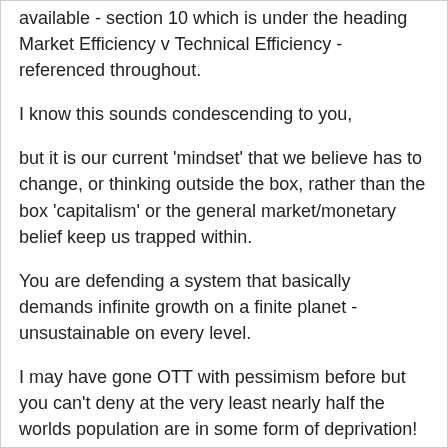available - section 10 which is under the heading Market Efficiency v Technical Efficiency - referenced throughout.
I know this sounds condescending to you,
but it is our current 'mindset' that we believe has to change, or thinking outside the box, rather than the box 'capitalism' or the general market/monetary belief keep us trapped within.
You are defending a system that basically demands infinite growth on a finite planet - unsustainable on every level.
I may have gone OTT with pessimism before but you can't deny at the very least nearly half the worlds population are in some form of deprivation!
Why is it current system is not allowed to be questioned? We can do so much better people - i